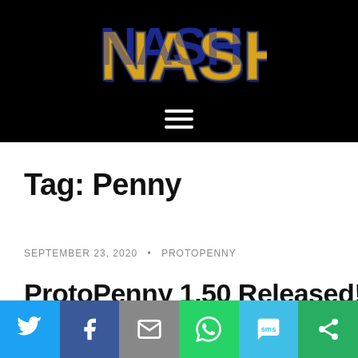[Figure (logo): NASH logo in gold/yellow and navy blue 3D block letters on black background]
Tag: Penny
SEPTEMBER 23, 2020 · PROTOPENNY
ProtoPenny 1.50 Released!
[Figure (infographic): Social share bar with Twitter, Facebook, Email, WhatsApp, SMS, and More buttons]